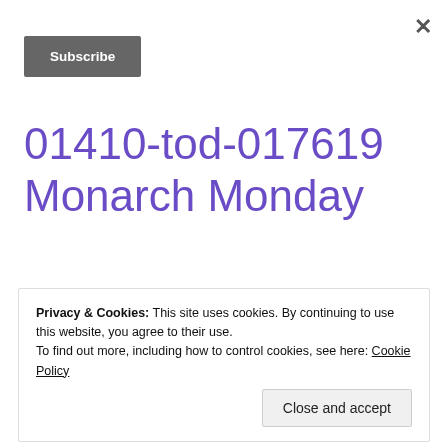×
Subscribe
01410-tod-017619 Monarch Monday
👍 0   👎 0
Privacy & Cookies: This site uses cookies. By continuing to use this website, you agree to their use. To find out more, including how to control cookies, see here: Cookie Policy
Close and accept